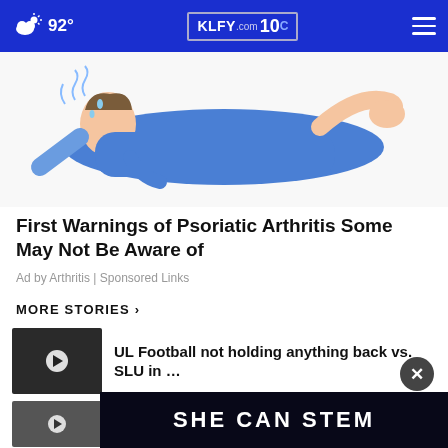92° KLFY.com 10
[Figure (illustration): Illustration of a person lying down in blue clothing, appearing to be in pain or discomfort, with wavy lines suggesting pain/heat around them.]
First Warnings of Psoriatic Arthritis Some May Not Be Aware of
Ad by Arthritis | Sponsored Links
MORE STORIES ›
UL Football not holding anything back vs. SLU in …
Editorial: No doubt about it...
[Figure (other): Bottom advertisement banner with text SHE CAN STEM on dark background]